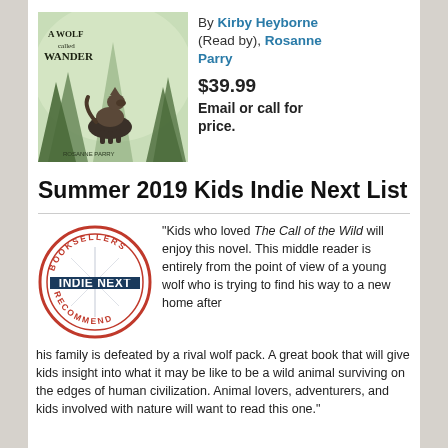[Figure (illustration): Book cover of 'A Wolf Called Wander' showing a wolf looking up at mountains and trees, illustrated style]
By Kirby Heyborne (Read by), Rosanne Parry
$39.99
Email or call for price.
Summer 2019 Kids Indie Next List
[Figure (logo): Indie Next Booksellers Recommend circular badge logo]
“Kids who loved The Call of the Wild will enjoy this novel. This middle reader is entirely from the point of view of a young wolf who is trying to find his way to a new home after his family is defeated by a rival wolf pack. A great book that will give kids insight into what it may be like to be a wild animal surviving on the edges of human civilization. Animal lovers, adventurers, and kids involved with nature will want to read this one.”